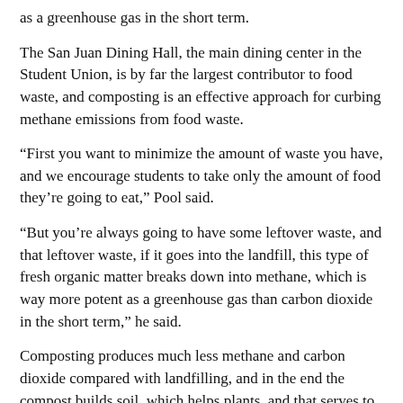as a greenhouse gas in the short term.
The San Juan Dining Hall, the main dining center in the Student Union, is by far the largest contributor to food waste, and composting is an effective approach for curbing methane emissions from food waste.
“First you want to minimize the amount of waste you have, and we encourage students to take only the amount of food they’re going to eat,” Pool said.
“But you’re always going to have some leftover waste, and that leftover waste, if it goes into the landfill, this type of fresh organic matter breaks down into methane, which is way more potent as a greenhouse gas than carbon dioxide in the short term,” he said.
Composting produces much less methane and carbon dioxide compared with landfilling, and in the end the compost builds soil, which helps plants, and that serves to encourage carbon sequestration because plants take in carbon dioxide and release oxygen.
An internal composting system had been able to handle about 50% of food waste at the San Juan Dining Room at Fort Lewis College. Now they all partner together with Tableto Farm Compost for